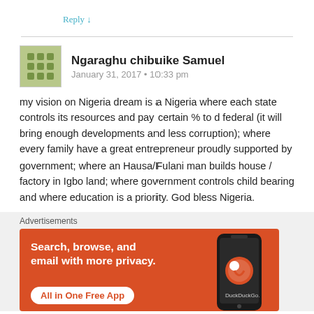Reply ↓
Ngaraghu chibuike Samuel
January 31, 2017 • 10:33 pm
my vision on Nigeria dream is a Nigeria where each state controls its resources and pay certain % to d federal (it will bring enough developments and less corruption); where every family have a great entrepreneur proudly supported by government; where an Hausa/Fulani man builds house / factory in Igbo land; where government controls child bearing and where education is a priority. God bless Nigeria.
Advertisements
[Figure (screenshot): DuckDuckGo advertisement banner: orange background with text 'Search, browse, and email with more privacy. All in One Free App' and a phone showing the DuckDuckGo app]